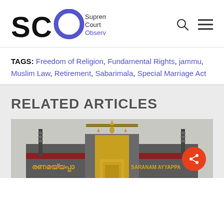[Figure (logo): Supreme Court Observer logo with SCO letters and blue O circle, search icon and hamburger menu]
TAGS: Freedom of Religion, Fundamental Rights, jammu, Muslim Law, Retirement, Sabarimala, Special Marriage Act
RELATED ARTICLES
[Figure (photo): Photo of Sabarimala temple entrance with Malayalam text 'ശരണമയ്യപ്പാ' and English text 'SARANAM AYYAPPA']